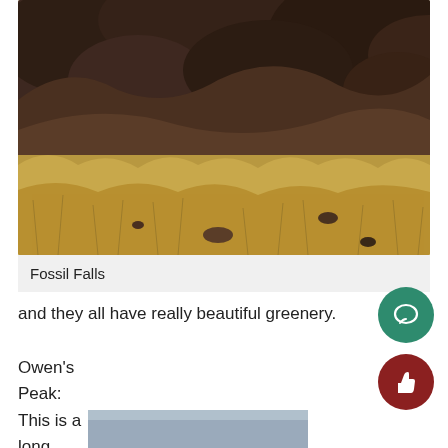[Figure (photo): Landscape photo showing dark volcanic rocks and dry golden grass in the foreground, with rugged rocky formations in the background — Fossil Falls area.]
Fossil Falls
and they all have really beautiful greenery.
Owen's Peak:
This is a
long
[Figure (photo): Partial bottom photo, appears to show a grey/blue surface, partially visible.]